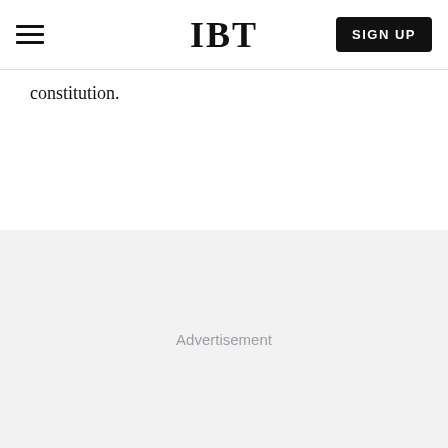IBT
constitution.
[Figure (other): Advertisement placeholder area with light gray background and 'Advertisement' label text]